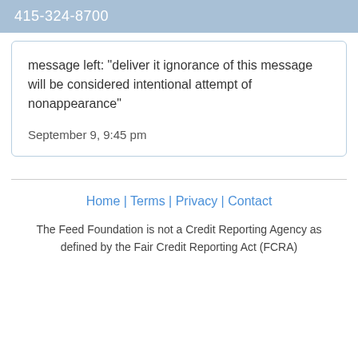415-324-8700
message left: "deliver it ignorance of this message will be considered intentional attempt of nonappearance"
September 9, 9:45 pm
Home | Terms | Privacy | Contact
The Feed Foundation is not a Credit Reporting Agency as defined by the Fair Credit Reporting Act (FCRA)